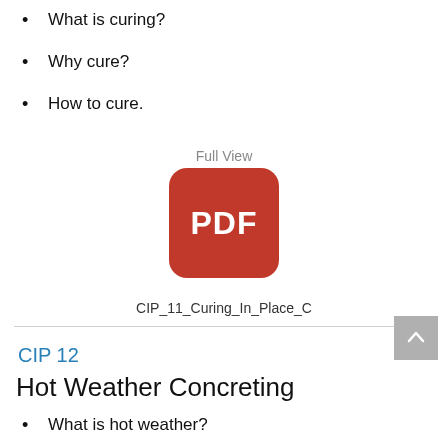What is curing?
Why cure?
How to cure.
[Figure (other): PDF icon with label 'Full View' above and filename 'CIP_11_Curing_In_Place_C' below]
CIP_11_Curing_In_Place_C
CIP 12
Hot Weather Concreting
What is hot weather?